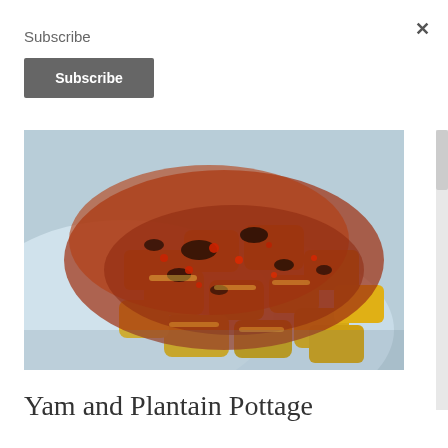Subscribe
Subscribe
[Figure (photo): Close-up photo of Yam and Plantain Pottage dish on a white plate, showing yellow-orange chunks of yam and plantain with a reddish-brown sauce and spices]
Yam and Plantain Pottage